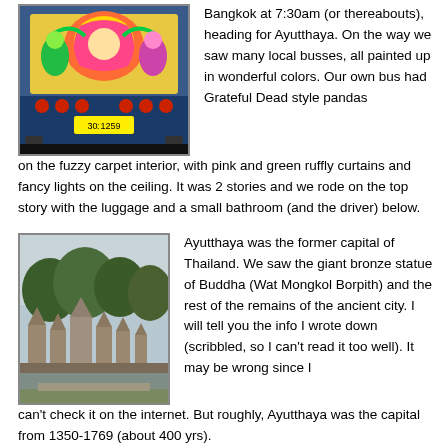[Figure (photo): Back of a colorfully painted Thai bus with decorative artwork showing mythological figures in bright colors; license plate reads 30-1259]
Bangkok at 7:30am (or thereabouts), heading for Ayutthaya. On the way we saw many local busses, all painted up in wonderful colors.  Our own bus had Grateful Dead style pandas on the fuzzy carpet interior, with pink and green ruffly curtains and fancy lights on the ceiling.  It was 2 stories and we rode on the top story with the luggage and a small bathroom (and the driver) below.
[Figure (photo): Ancient ruins of Ayutthaya with stone temple structures and trees in the background under a cloudy sky]
Ayutthaya was the former capital of Thailand. We saw the giant bronze statue of Buddha (Wat Mongkol Borpith) and the rest of the remains of the ancient city. I will tell you the info I wrote down (scribbled, so I can't read it too well). It may be wrong since I can't check it on the internet. But roughly, Ayutthaya was the capital from 1350-1769 (about 400 yrs).